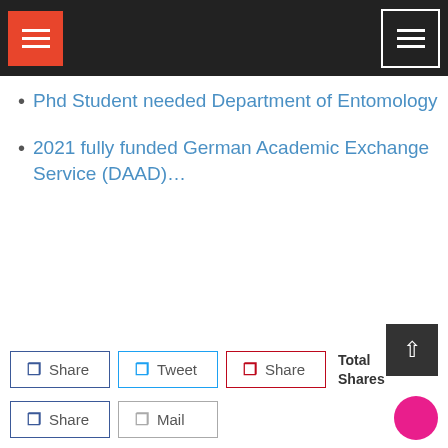Navigation bar with hamburger menu icons
Phd Student needed Department of Entomology
2021 fully funded German Academic Exchange Service (DAAD)…
Total Shares
Share | Tweet | Share | Share | Mail